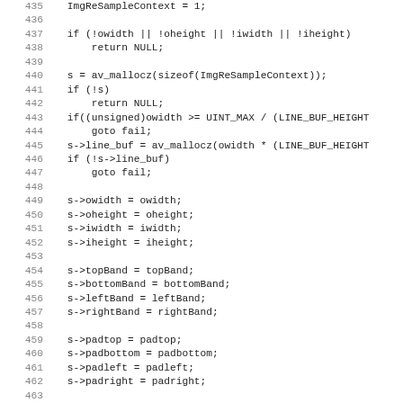[Figure (screenshot): Source code listing in monospace font showing lines 435-467 of a C file implementing ImgReSampleContext initialization. Lines include null checks, memory allocation with av_mallocz, field assignments for owidth, oheight, iwidth, iheight, band values, pad values, and pad_owidth/pad_oheight calculations.]